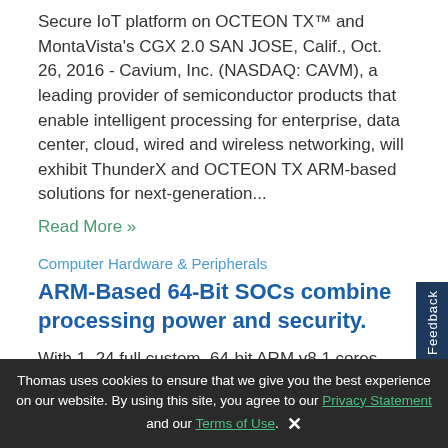Secure IoT platform on OCTEON TX™ and MontaVista's CGX 2.0 SAN JOSE, Calif., Oct. 26, 2016 - Cavium, Inc. (NASDAQ: CAVM), a leading provider of semiconductor products that enable intelligent processing for enterprise, data center, cloud, wired and wireless networking, will exhibit ThunderX and OCTEON TX ARM-based solutions for next-generation...
Read More »
Computer Hardware & Peripherals
ARM-Based 64-Bit SOCs combine processing power and security.
With 1–24 full custom, 64-bit ARM v8.1 cores, OCTEON TX™ CN80XX/CN81XX/CN82XX/CN83XX address control plane and data plane applications in networking...
Thomas uses cookies to ensure that we give you the best experience on our website. By using this site, you agree to our Privacy Statement and our Terms of Use.